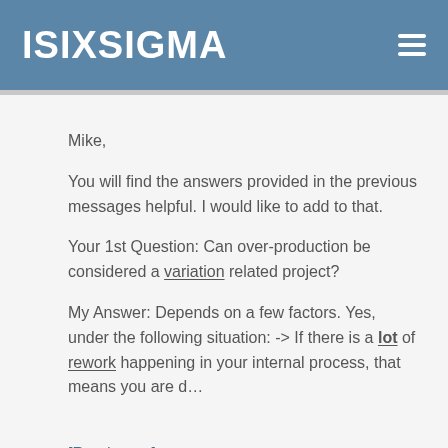ISIXSIGMA
Mike,
You will find the answers provided in the previous messages helpful. I would like to add to that.
Your 1st Question: Can over-production be considered a variation related project?
My Answer: Depends on a few factors. Yes, under the following situation: -> If there is a lot of rework happening in your internal process, that means you are d…
[Read more]